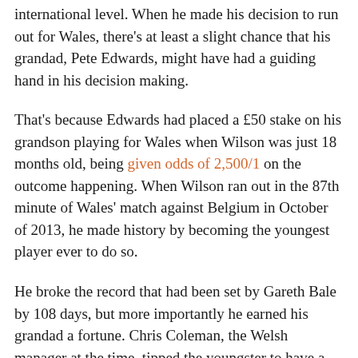international level. When he made his decision to run out for Wales, there's at least a slight chance that his grandad, Pete Edwards, might have had a guiding hand in his decision making.
That's because Edwards had placed a £50 stake on his grandson playing for Wales when Wilson was just 18 months old, being given odds of 2,500/1 on the outcome happening. When Wilson ran out in the 87th minute of Wales' match against Belgium in October of 2013, he made history by becoming the youngest player ever to do so.
He broke the record that had been set by Gareth Bale by 108 days, but more importantly he earned his grandad a fortune. Chris Coleman, the Welsh manager at the time, tipped the youngster to have a bright future for his country, yet it was his grandad who was the happiest to see him play for his country.